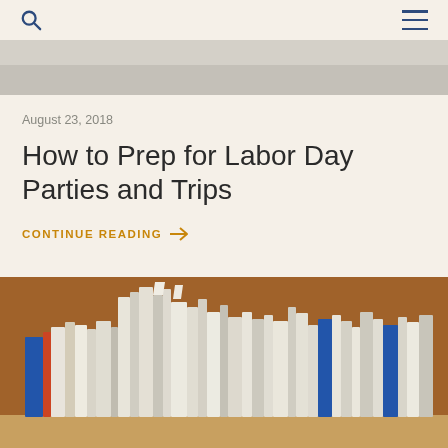[Figure (photo): Partial top edge of a photo visible at the top of the page, gray/beige tones]
August 23, 2018
How to Prep for Labor Day Parties and Trips
CONTINUE READING →
[Figure (photo): Photo of books and folders packed tightly on a wooden shelf, brown background, white and beige spines visible]